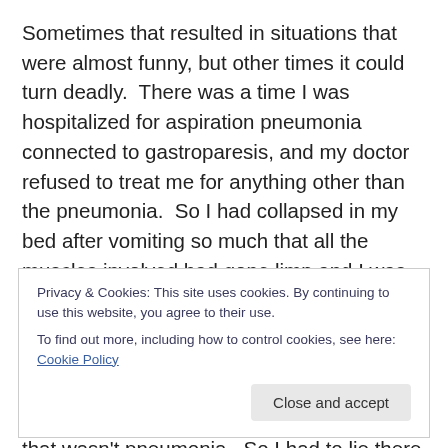Sometimes that resulted in situations that were almost funny, but other times it could turn deadly.  There was a time I was hospitalized for aspiration pneumonia connected to gastroparesis, and my doctor refused to treat me for anything other than the pneumonia.  So I had collapsed in my bed after vomiting so much that all the muscles involved had gone limp and I was starting to have trouble breathing.  In retrospect we think it was the start of an adrenal or myasthenia crisis, and that I belonged in the ICU.  But at the time, the hospitalist simply refused to treat anything that wasn't pneumonia.  So I had to lie there
Privacy & Cookies: This site uses cookies. By continuing to use this website, you agree to their use.
To find out more, including how to control cookies, see here: Cookie Policy